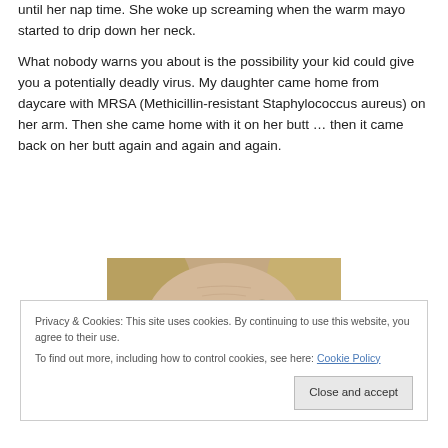until her nap time. She woke up screaming when the warm mayo started to drip down her neck.
What nobody warns you about is the possibility your kid could give you a potentially deadly virus. My daughter came home from daycare with MRSA (Methicillin-resistant Staphylococcus aureus) on her arm. Then she came home with it on her butt … then it came back on her butt again and again and again.
[Figure (photo): Close-up photo of a person's face, showing eyes and forehead with blonde hair, looking upward.]
Privacy & Cookies: This site uses cookies. By continuing to use this website, you agree to their use.
To find out more, including how to control cookies, see here: Cookie Policy
Close and accept